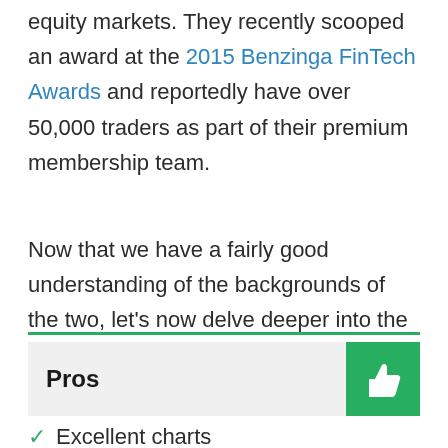equity markets. They recently scooped an award at the 2015 Benzinga FinTech Awards and reportedly have over 50,000 traders as part of their premium membership team.
Now that we have a fairly good understanding of the backgrounds of the two, let's now delve deeper into the real stuff.
Pros
Excellent charts